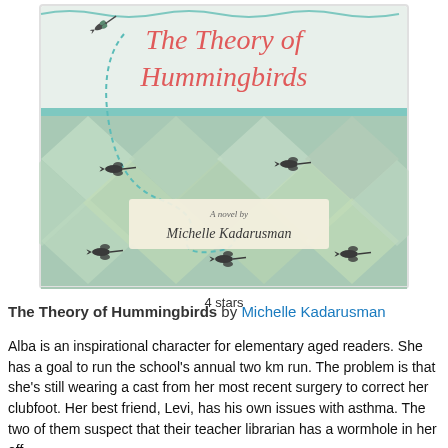[Figure (illustration): Book cover for 'The Theory of Hummingbirds' by Michelle Kadarusman. Teal/cream top section with red cursive title text and a small hummingbird illustration. Lower section features a green diamond/harlequin pattern with hummingbird silhouettes and a dashed teal loop path. Author name on a cream banner.]
4 stars
The Theory of Hummingbirds by Michelle Kadarusman
Alba is an inspirational character for elementary aged readers. She has a goal to run the school's annual two km run. The problem is that she's still wearing a cast from her most recent surgery to correct her clubfoot. Her best friend, Levi, has his own issues with asthma. The two of them suspect that their teacher librarian has a wormhole in her off...